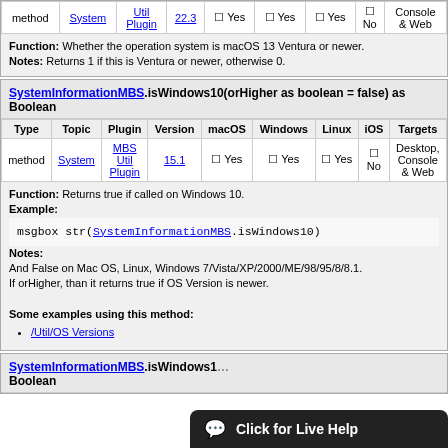| Type | Topic | Plugin | Version | macOS | Windows | Linux | iOS | Targets |
| --- | --- | --- | --- | --- | --- | --- | --- | --- |
| method | System | MBS Util Plugin | 22.3 | ☐ Yes | ☐ Yes | ☐ Yes | ☐ No | Console & Web |
Function: Whether the operation system is macOS 13 Ventura or newer. Notes: Returns 1 if this is Ventura or newer, otherwise 0.
SystemInformationMBS.isWindows10(orHigher as boolean = false) as Boolean
| Type | Topic | Plugin | Version | macOS | Windows | Linux | iOS | Targets |
| --- | --- | --- | --- | --- | --- | --- | --- | --- |
| method | System | MBS Util Plugin | 15.1 | ☐ Yes | ☐ Yes | ☐ Yes | ☐ No | Desktop, Console & Web |
Function: Returns true if called on Windows 10.
Example:
Notes:
And False on Mac OS, Linux, Windows 7/Vista/XP/2000/ME/98/95/8/8.1.
If orHigher, than it returns true if OS Version is newer.
Some examples using this method:
/Util/OS Versions
SystemInformationMBS.isWindows1... Boolean